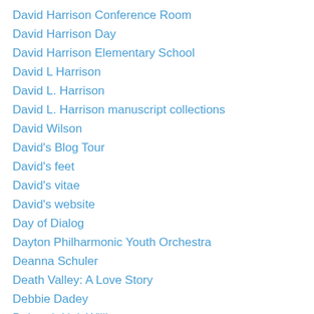David Harrison Conference Room
David Harrison Day
David Harrison Elementary School
David L Harrison
David L. Harrison
David L. Harrison manuscript collections
David Wilson
David's Blog Tour
David's feet
David's vitae
David's website
Day of Dialog
Dayton Philharmonic Youth Orchestra
Deanna Schuler
Death Valley: A Love Story
Debbie Dadey
Deborah Holt Williams
Deborah Wooten
December Hall of Fame Poets
December Word of the Month